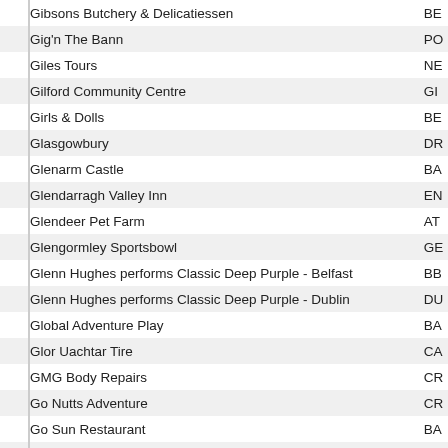| Name | Code |
| --- | --- |
| Gibsons Butchery & Delicatiessen | BE |
| Gig'n The Bann | PO |
| Giles Tours | NE |
| Gilford Community Centre | GI |
| Girls & Dolls | BE |
| Glasgowbury | DR |
| Glenarm Castle | BA |
| Glendarragh Valley Inn | EN |
| Glendeer Pet Farm | AT |
| Glengormley Sportsbowl | GE |
| Glenn Hughes performs Classic Deep Purple - Belfast | BB |
| Glenn Hughes performs Classic Deep Purple - Dublin | DU |
| Global Adventure Play | BA |
| Glor Uachtar Tire | CA |
| GMG Body Repairs | CR |
| Go Nutts Adventure | CR |
| Go Sun Restaurant | BA |
| Go Visit Inishowen | BU |